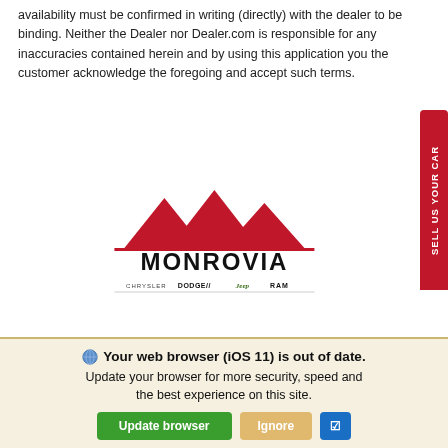availability must be confirmed in writing (directly) with the dealer to be binding. Neither the Dealer nor Dealer.com is responsible for any inaccuracies contained herein and by using this application you the customer acknowledge the foregoing and accept such terms.
[Figure (logo): Monrovia Chrysler Dodge Jeep RAM dealer logo with red mountain silhouette above city skyline and brand logos]
📞 Call Us
📍 Directions
Your web browser (iOS 11) is out of date. Update your browser for more security, speed and the best experience on this site.